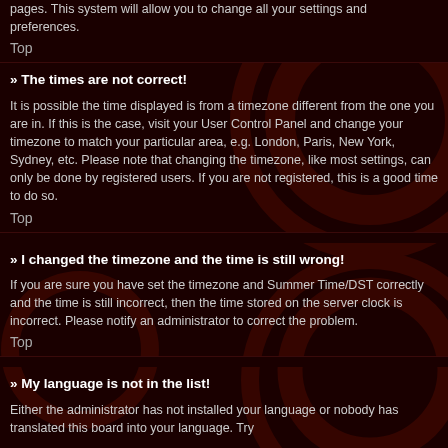pages. This system will allow you to change all your settings and preferences.
Top
» The times are not correct!
It is possible the time displayed is from a timezone different from the one you are in. If this is the case, visit your User Control Panel and change your timezone to match your particular area, e.g. London, Paris, New York, Sydney, etc. Please note that changing the timezone, like most settings, can only be done by registered users. If you are not registered, this is a good time to do so.
Top
» I changed the timezone and the time is still wrong!
If you are sure you have set the timezone and Summer Time/DST correctly and the time is still incorrect, then the time stored on the server clock is incorrect. Please notify an administrator to correct the problem.
Top
» My language is not in the list!
Either the administrator has not installed your language or nobody has translated this board into your language. Try